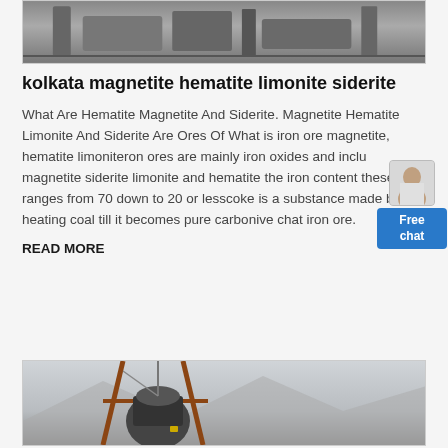[Figure (photo): Industrial/mining equipment scene, top cropped image showing machinery structures in grey tones]
kolkata magnetite hematite limonite siderite
What Are Hematite Magnetite And Siderite. Magnetite Hematite Limonite And Siderite Are Ores Of What is iron ore magnetite, hematite limoniteron ores are mainly iron oxides and include magnetite siderite limonite and hematite the iron content these ores ranges from 70 down to 20 or lesscoke is a substance made by heating coal till it becomes pure carbonive chat iron ore.
READ MORE
[Figure (photo): Industrial mining crusher or drill machinery outdoors with mountains in background, orange/rust metal frame structure]